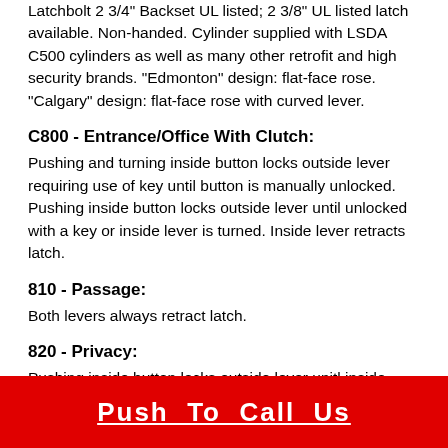Latchbolt 2 3/4" Backset UL listed; 2 3/8" UL listed latch available. Non-handed. Cylinder supplied with LSDA C500 cylinders as well as many other retrofit and high security brands. "Edmonton" design: flat-face rose. "Calgary" design: flat-face rose with curved lever.
C800 - Entrance/Office With Clutch:
Pushing and turning inside button locks outside lever requiring use of key until button is manually unlocked. Pushing inside button locks outside lever until unlocked with a key or inside lever is turned. Inside lever retracts latch.
810 - Passage:
Both levers always retract latch.
820 - Privacy:
Pushing inside button locks outside lever unitl inside lever is turned. Emergency tool can be used to unlock outside lever. Inside lever always retracts latch.
C840 - Storeroom With Clutch:
Push  To  Call  Us